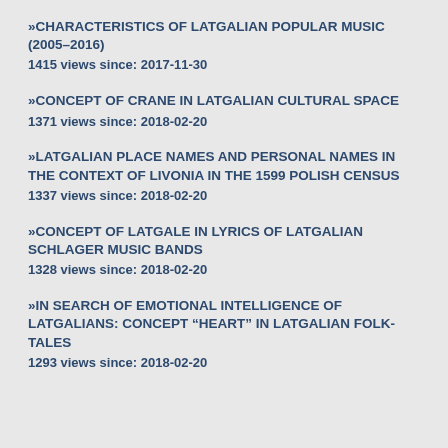»CHARACTERISTICS OF LATGALIAN POPULAR MUSIC (2005–2016)
1415 views since: 2017-11-30
»CONCEPT OF CRANE IN LATGALIAN CULTURAL SPACE
1371 views since: 2018-02-20
»LATGALIAN PLACE NAMES AND PERSONAL NAMES IN THE CONTEXT OF LIVONIA IN THE 1599 POLISH CENSUS
1337 views since: 2018-02-20
»CONCEPT OF LATGALE IN LYRICS OF LATGALIAN SCHLAGER MUSIC BANDS
1328 views since: 2018-02-20
»IN SEARCH OF EMOTIONAL INTELLIGENCE OF LATGALIANS: CONCEPT “HEART” IN LATGALIAN FOLK-TALES
1293 views since: 2018-02-20